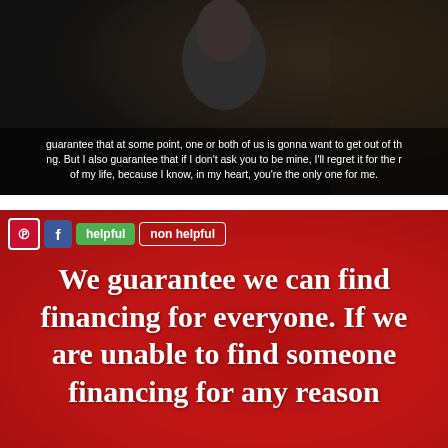[Figure (screenshot): Movie/TV scene screenshot showing a man, with subtitles reading: 'guarantee that at some point, one or both of us is gonna want to get out of th[is]. But I also guarantee that if I don't ask you to be mine, I'll regret it for the r[est] of my life, because I know, in my heart, you're the only one for me.']
[Figure (infographic): Red background advertisement image with social sharing buttons (Pinterest, Facebook, helpful, non helpful) and bold white text: 'We guarantee we can find financing for everyone. If we are unable to find someone financing for any reason']